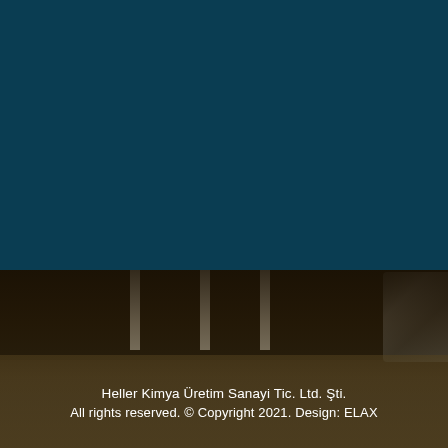[Figure (photo): Background image showing a room interior with a dark teal upper half and a dimly lit lower half showing floor with table legs and a woven basket/rope object on the right side.]
Heller Kimya Üretim Sanayi Tic. Ltd. Şti.
All rights reserved. © Copyright 2021. Design: ELAX